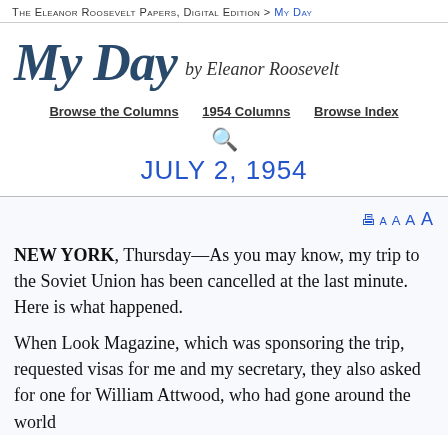The Eleanor Roosevelt Papers, Digital Edition > My Day
My Day by Eleanor Roosevelt
Browse the Columns | 1954 Columns | Browse Index
JULY 2, 1954
NEW YORK, Thursday—As you may know, my trip to the Soviet Union has been cancelled at the last minute. Here is what happened.
When Look Magazine, which was sponsoring the trip, requested visas for me and my secretary, they also asked for one for William Attwood, who had gone around the world